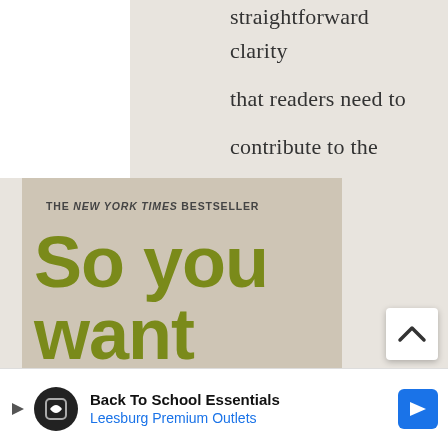straightforward clarity that readers need to contribute to the of the . She's is t-Large at ment, a orm run by ectly o bridg veen lor and
[Figure (illustration): Book cover of 'So You Want to Talk About' - The New York Times Bestseller. Cover has a tan/beige background with large olive-green bold text reading 'So you want to' and dark brown bold text reading 'talk about' overlaid on a cream speech bubble shape.]
[Figure (infographic): Scroll-up arrow button (chevron up icon) in a white rounded rectangle]
Back To School Essentials Leesburg Premium Outlets